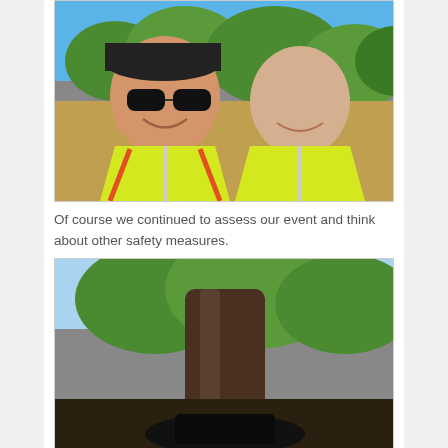[Figure (photo): Two men wearing yellow high-visibility safety vests smiling for a selfie outdoors on a sunny day. The man on the left wears a black baseball cap and sunglasses. Green trees and blue sky are visible in the background.]
Of course we continued to assess our event and think about other safety measures.
[Figure (photo): View looking up at a large tree trunk with green leafy canopy visible against the sky. A dark figure or object is visible at the bottom of the frame.]